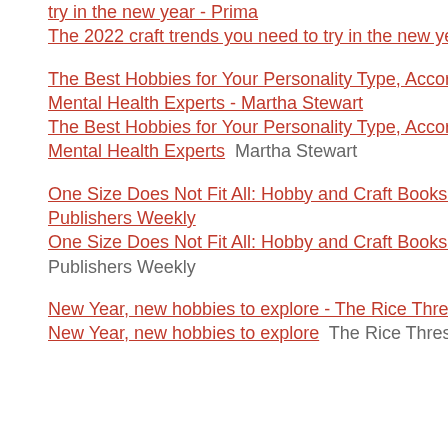try in the new year - Prima
The 2022 craft trends you need to try in the new year  Prima
The Best Hobbies for Your Personality Type, According to Mental Health Experts - Martha Stewart
The Best Hobbies for Your Personality Type, According to Mental Health Experts  Martha Stewart
One Size Does Not Fit All: Hobby and Craft Books 2021 - Publishers Weekly
One Size Does Not Fit All: Hobby and Craft Books 2021  Publishers Weekly
New Year, new hobbies to explore - The Rice Thresher
New Year, new hobbies to explore  The Rice Thresher